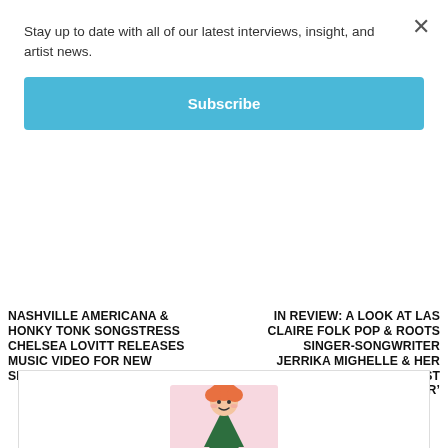Stay up to date with all of our latest interviews, insight, and artist news.
Subscribe
NASHVILLE AMERICANA & HONKY TONK SONGSTRESS CHELSEA LOVITT RELEASES MUSIC VIDEO FOR NEW SINGLE ‘STATE OF DENIAL’
IN REVIEW: A LOOK AT LAS CLAIRE FOLK POP & ROOTS SINGER-SONGWRITER JERRIKA MIGHELLE & HER NEW ALBUM ‘BRIGHTEST STAR’
[Figure (illustration): Cartoon illustration of a person with orange curly hair dressed as a Christmas tree, standing on a small grey shadow. Pink background.]
LINSEY POTTER